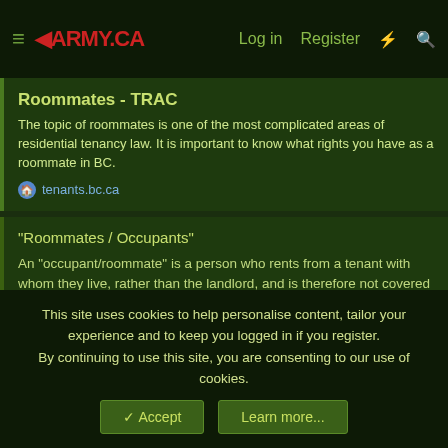≡ ◄ARMY.CA  Log in  Register
Roommates - TRAC
The topic of roommates is one of the most complicated areas of residential tenancy law. It is important to know what rights you have as a roommate in BC.
tenants.bc.ca
"Roommates / Occupants"
An "occupant/roommate" is a person who rents from a tenant with whom they live, rather than the landlord, and is therefore not covered under the Residential Tenancy Act (RTA). This living situation is common in shared houses where a "head-tenant" rents out bedrooms to roommates. If you enter this kind of arrangement, you will not be protected by the RTA, and TRAC and the RTB will not be able to assist you. See RTB Policy Guideline 10 for more information.
Click to expand...
This site uses cookies to help personalise content, tailor your experience and to keep you logged in if you register.
By continuing to use this site, you are consenting to our use of cookies.
✓ Accept   Learn more...